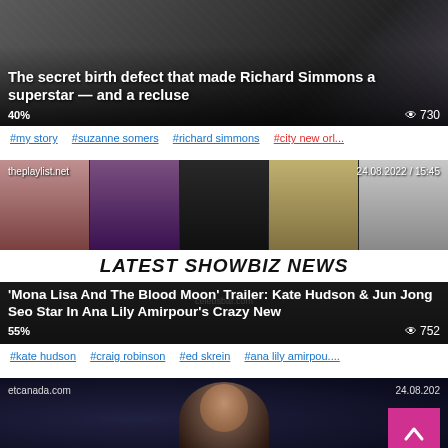[Figure (screenshot): Article card: 'The secret birth defect that made Richard Simmons a superstar — and a recluse', 40% progress, 730 views]
#my story  #suzanne somers  #richard simmons  #city new orl...
[Figure (screenshot): Article card from theplaylist.net dated 24.08.2022 / 15:45 showing LATEST SHOWBIZ NEWS banner and article 'Mona Lisa And The Blood Moon' Trailer: Kate Hudson & Jun Jong Seo Star In Ana Lily Amirpour's Crazy New ... with 55% progress and 752 views]
#kate hudson  #craig robinson  #ed skrein  #ana lily amirpou....
[Figure (screenshot): Article card from etcanada.com dated 24.08.202... showing a person's face with dark hair, partially visible]